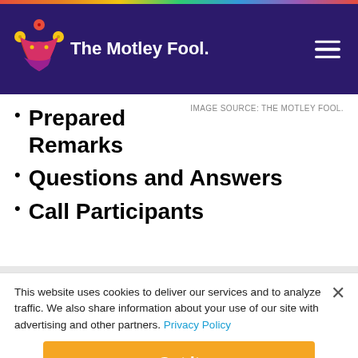The Motley Fool
IMAGE SOURCE: THE MOTLEY FOOL.
Prepared Remarks
Questions and Answers
Call Participants
This website uses cookies to deliver our services and to analyze traffic. We also share information about your use of our site with advertising and other partners. Privacy Policy
Got it
Cookie Settings